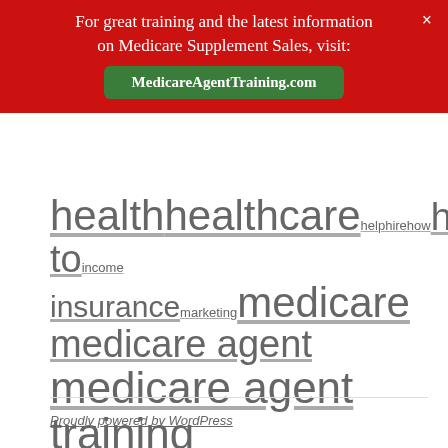[Figure (infographic): Red banner overlay with text: 'For great training and the latest information on Medicare Supplement Sales, visit: MedicareAgentTraining.com' with a green button and X close button]
healthhealthcarehelpHirehowHow toincomeinsurancemarketingmedicaremedicare agentmedicare agent trainingmedicare supplementmedicare supplementsmedigapmedigap agentmotivationNetworkphoneresultssalessales trainingSCalesellsell by phonesellingseniorsSenior savings networksuccesssuccessfultipsWestfallwork
Proudly powered by WordPress